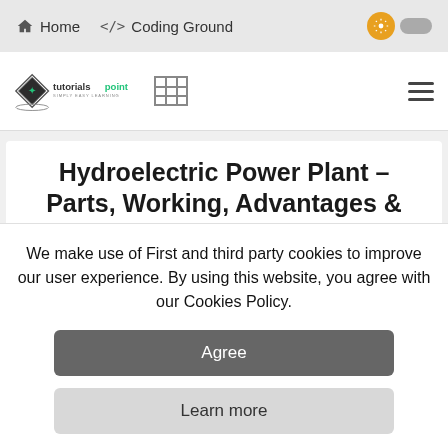Home   </> Coding Ground
[Figure (logo): Tutorialspoint logo — diamond shape with book icon, text 'tutorialspoint SIMPLY EASY LEARNING']
Hydroelectric Power Plant – Parts, Working, Advantages & Disadvantages
Electron
Electronics & Electrical
Digital Electronics
We make use of First and third party cookies to improve our user experience. By using this website, you agree with our Cookies Policy.
Agree
Learn more